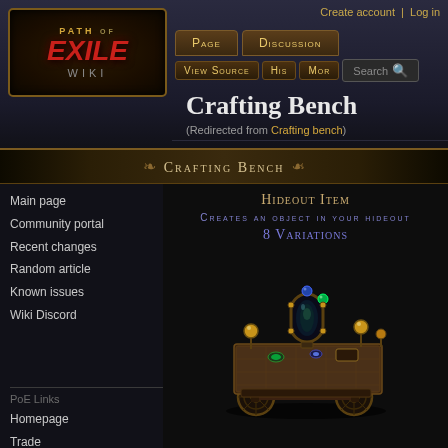Create account  Log in
[Figure (logo): Path of Exile Wiki logo with golden decorative border, showing stylized PATH OF EXILE text in red/gold and WIKI below]
Page  Discussion  View source  History  More  Search
Crafting Bench
(Redirected from Crafting bench)
Crafting Bench
Main page
Community portal
Recent changes
Random article
Known issues
Wiki Discord
Hideout Item
Creates an object in your hideout
8 Variations
[Figure (illustration): 3D rendered image of a crafting bench - a steampunk-style cart with brass/golden orbs, a mirror, glowing green gems, and an ornate wooden surface with magical items on a wheeled cart]
PoE Links
Homepage
Trade
Community Websites